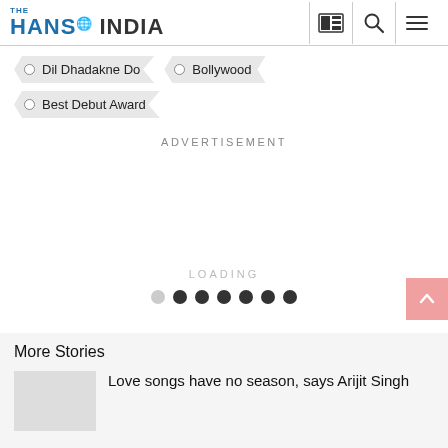THE HANS INDIA
Dil Dhadakne Do
Bollywood
Best Debut Award
ADVERTISEMENT
LOADING
More Stories
Love songs have no season, says Arijit Singh